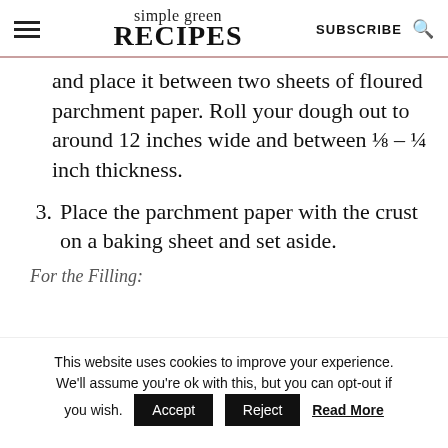simple green RECIPES  SUBSCRIBE
and place it between two sheets of floured parchment paper. Roll your dough out to around 12 inches wide and between ⅛ – ¼ inch thickness.
3. Place the parchment paper with the crust on a baking sheet and set aside.
For the Filling:
This website uses cookies to improve your experience. We'll assume you're ok with this, but you can opt-out if you wish. Accept  Reject  Read More